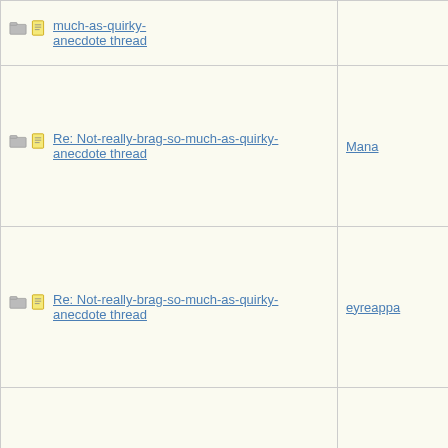| Thread | Author |
| --- | --- |
| Re: Not-really-brag-so-much-as-quirky-anecdote thread |  |
| Re: Not-really-brag-so-much-as-quirky-anecdote thread | Mana |
| Re: Not-really-brag-so-much-as-quirky-anecdote thread | eyreappa |
| Re: Not-really-brag-so-much-as-quirky-anecdote thread | MumOfTh |
| Re: Not-really-brag-so-much-as-quirky-anecdote thread | Bostonian |
| Re: Not-really-brag-so-much-as-quirky-anecdote thread | MumOfTh |
| Re: Not-really-brag-so-much-as-quirky-anecdote thread | HowlerKa |